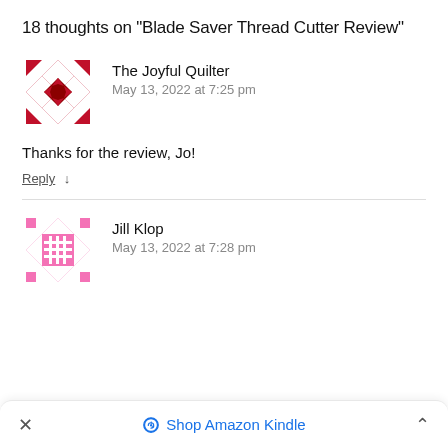18 thoughts on “Blade Saver Thread Cutter Review”
[Figure (illustration): Red quilt-pattern avatar icon for The Joyful Quilter]
The Joyful Quilter
May 13, 2022 at 7:25 pm
Thanks for the review, Jo!
Reply ↓
[Figure (illustration): Pink quilt-pattern avatar icon for Jill Klop]
Jill Klop
May 13, 2022 at 7:28 pm
Shop Amazon Kindle